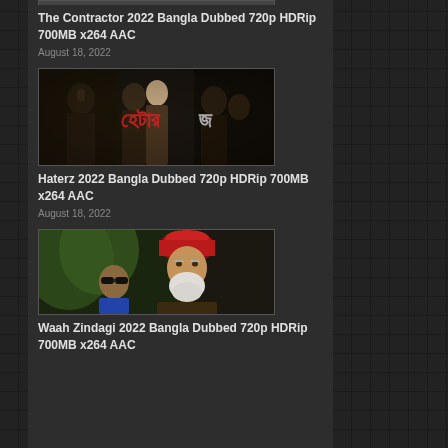[Figure (photo): Partially visible movie thumbnail at the top (cropped)]
The Contractor 2022 Bangla Dubbed 720p HDRip 700MB x264 AAC
August 18, 2022
[Figure (photo): Movie poster for Haterz 2022 showing group of people in dark tones with Bengali text overlay]
Haterz 2022 Bangla Dubbed 720p HDRip 700MB x264 AAC
August 18, 2022
[Figure (photo): Movie poster for Waah Zindagi 2022 showing elderly man with red turban and younger man with sunglasses]
Waah Zindagi 2022 Bangla Dubbed 720p HDRip 700MB x264 AAC